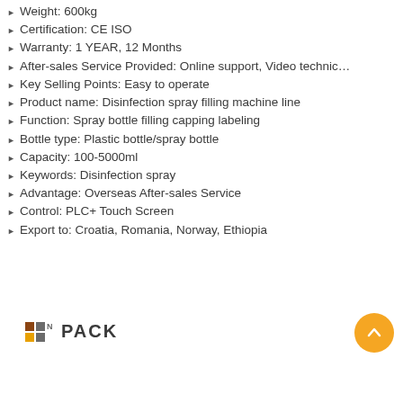Weight: 600kg
Certification: CE ISO
Warranty: 1 YEAR, 12 Months
After-sales Service Provided: Online support, Video technic…
Key Selling Points: Easy to operate
Product name: Disinfection spray filling machine line
Function: Spray bottle filling capping labeling
Bottle type: Plastic bottle/spray bottle
Capacity: 100-5000ml
Keywords: Disinfection spray
Advantage: Overseas After-sales Service
Control: PLC+ Touch Screen
Export to: Croatia, Romania, Norway, Ethiopia
[Figure (logo): NnPACK logo with colored squares and bold text]
[Figure (illustration): Back-to-top button, orange circle with upward chevron]